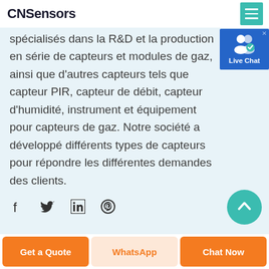CNSensors
spécialisés dans la R&D et la production en série de capteurs et modules de gaz, ainsi que d'autres capteurs tels que capteur PIR, capteur de débit, capteur d'humidité, instrument et équipement pour capteurs de gaz. Notre société a développé différents types de capteurs pour répondre les différentes demandes des clients.
[Figure (infographic): Live Chat widget with user icon on blue background]
[Figure (infographic): Social media icons: Facebook, Twitter, LinkedIn, Pinterest]
[Figure (infographic): Teal circle button at bottom right]
Get a Quote | WhatsApp | Chat Now